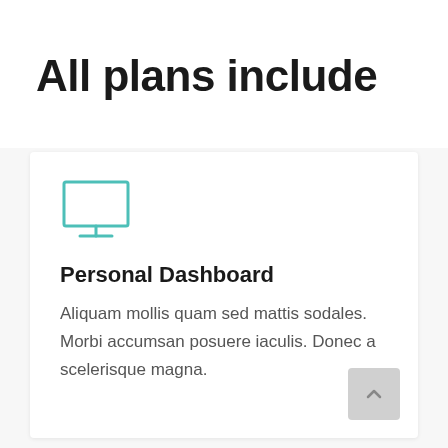All plans include
[Figure (illustration): Teal outline icon of a desktop monitor/computer screen]
Personal Dashboard
Aliquam mollis quam sed mattis sodales. Morbi accumsan posuere iaculis. Donec a scelerisque magna.